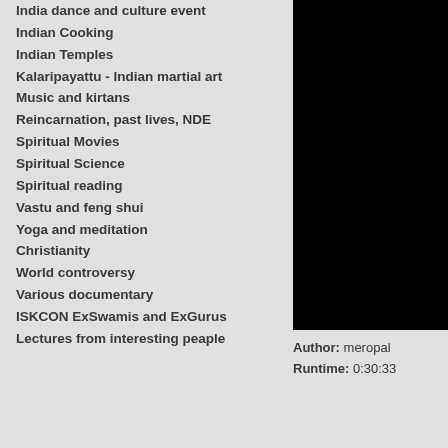India dance and culture event
Indian Cooking
Indian Temples
Kalaripayattu - Indian martial art
Music and kirtans
Reincarnation, past lives, NDE
Spiritual Movies
Spiritual Science
Spiritual reading
Vastu and feng shui
Yoga and meditation
Christianity
World controversy
Various documentary
ISKCON ExSwamis and ExGurus
Lectures from interesting peaple
[Figure (photo): Black rectangle representing a video thumbnail or image placeholder]
Author:  meropal
Runtime:  0:30:33